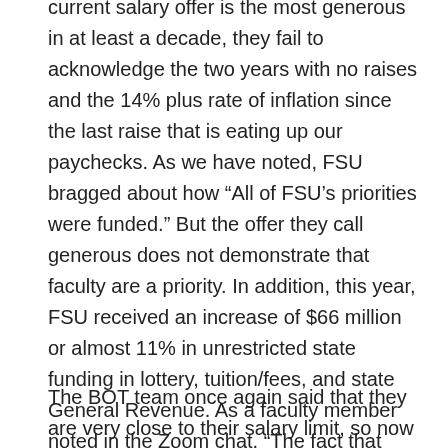current salary offer is the most generous in at least a decade, they fail to acknowledge the two years with no raises and the 14% plus rate of inflation since the last raise that is eating up our paychecks. As we have noted, FSU bragged about how “All of FSU’s priorities were funded.” But the offer they call generous does not demonstrate that faculty are a priority. In addition, this year, FSU received an increase of $66 million or almost 11% in unrestricted state funding in lottery, tuition/fees, and state General Revenue. As a faculty member noted in the Zoom chat, “The fact that [the BOT’s offer is] the largest in 10 years does not actually help their cause; that data shows how poorly we’ve been compensated.” And another faculty member asked after hearing the BOT’s salary offer, “That is supposed to make up for other years?”
The BOT team once again said that they are very close to their salary limit, so now really is the time for faculty to show